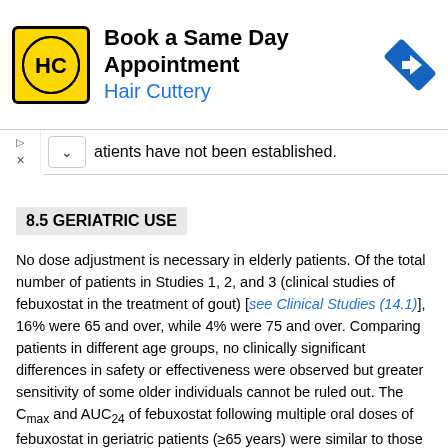[Figure (other): Hair Cuttery advertisement banner: logo with HC letters on yellow background, text 'Book a Same Day Appointment / Hair Cuttery', blue arrow navigation icon]
atients have not been established.
8.5 GERIATRIC USE
No dose adjustment is necessary in elderly patients. Of the total number of patients in Studies 1, 2, and 3 (clinical studies of febuxostat in the treatment of gout) [see Clinical Studies (14.1)], 16% were 65 and over, while 4% were 75 and over. Comparing patients in different age groups, no clinically significant differences in safety or effectiveness were observed but greater sensitivity of some older individuals cannot be ruled out. The Cmax and AUC24 of febuxostat following multiple oral doses of febuxostat in geriatric patients (≥65 years) were similar to those in younger patients (18 to 40 years) [see Clinical Pharmacology (12.3)].